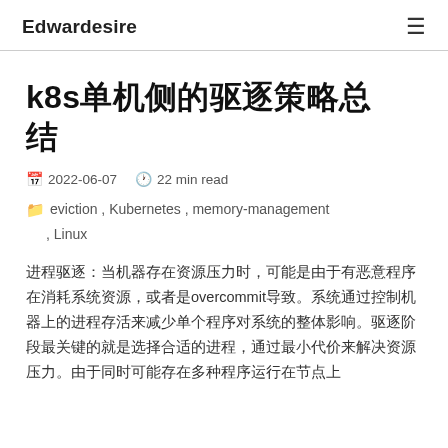Edwardesire ≡
k8s单机侧的驱逐策略总结
2022-06-07  22 min read
eviction , Kubernetes , memory-management , Linux
进程驱逐：当机器存在资源压力时，可能是由于有恶意程序在消耗系统资源，或者是overcommit导致。系统通过控制机器上的进程存活来减少单个程序对系统的整体影响。驱逐阶段最关键的就是选择合适的进程，通过最小代价来解决资源压力。由于同时可能存在多种程序运行在节点上